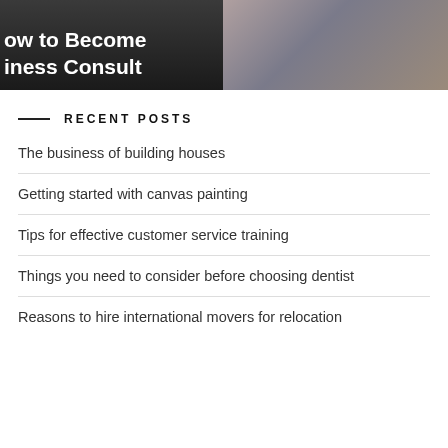[Figure (photo): Two thumbnail images side by side: left shows a dark background with white bold text partially visible reading 'ow to Become iness Consult', right shows a blurred photo of hands]
RECENT POSTS
The business of building houses
Getting started with canvas painting
Tips for effective customer service training
Things you need to consider before choosing dentist
Reasons to hire international movers for relocation